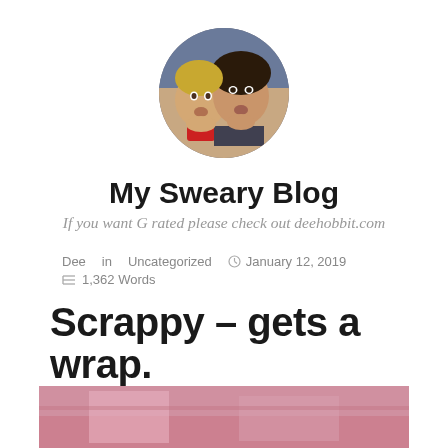[Figure (photo): Circular profile photo of two people (a child and a woman) making funny faces, posing together.]
My Sweary Blog
If you want G rated please check out deehobbit.com
Dee in Uncategorized  ⏰ January 12, 2019  ≡ 1,362 Words
Scrappy – gets a wrap.
[Figure (photo): Partial bottom image showing pink/colorful fabric or material, cropped at the page bottom.]